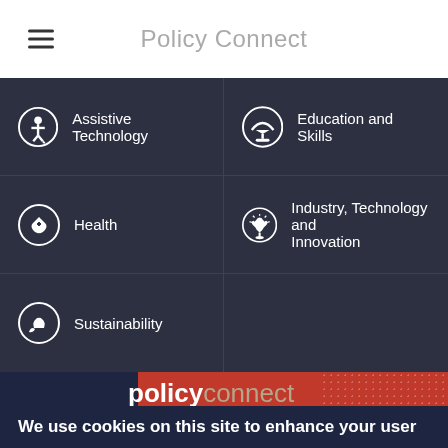Policy Connect
Assistive Technology
Education and Skills
Health
Industry, Technology and Innovation
Sustainability
[Figure (logo): Policy Connect logo with 'policy' in white bold and 'connect' in tan/beige, overlaid on a dark navy and red rectangular banner with dotted texture. Tagline reads: The think tank making better public policy]
We use cookies on this site to enhance your user